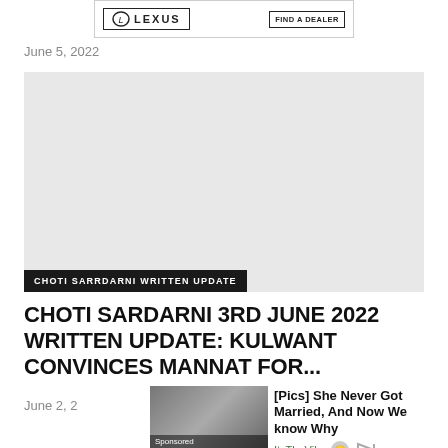[Figure (other): Lexus advertisement banner with logo and FIND A DEALER button]
June 5, 2022
[Figure (other): Large gray placeholder image with dark label bar reading CHOTI SARRDARNI WRITTEN UPDATE]
CHOTI SARDARNI 3RD JUNE 2022 WRITTEN UPDATE: KULWANT CONVINCES MANNAT FOR...
June 2, 2022
[Figure (photo): Sponsored image of a woman, black and white photo]
[Pics] She Never Got Married, And Now We know Why ItsTheVibe